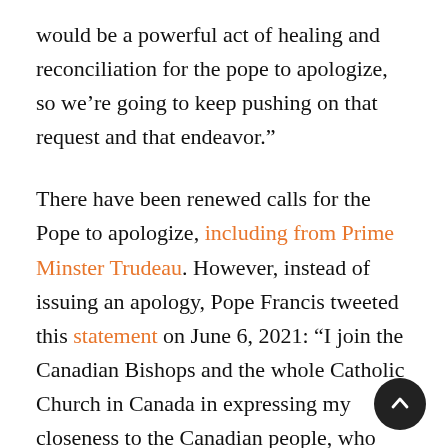would be a powerful act of healing and reconciliation for the pope to apologize, so we’re going to keep pushing on that request and that endeavor.”
There have been renewed calls for the Pope to apologize, including from Prime Minster Trudeau. However, instead of issuing an apology, Pope Francis tweeted this statement on June 6, 2021: “I join the Canadian Bishops and the whole Catholic Church in Canada in expressing my closeness to the Canadian people, who have been traumatised by shocking discovery of the remains of two hundred and fifteen children, pupils at the Kamloops Indian Residential School.” He further stated that “[t]hese difficult times are a strong call for everyone to turn away